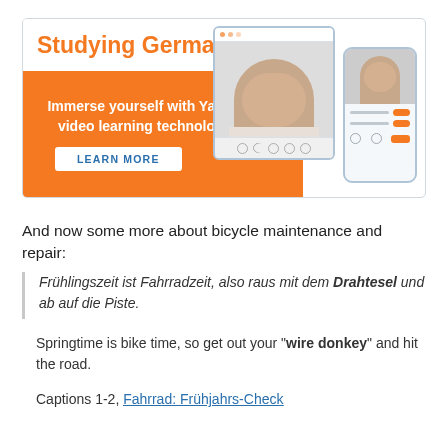[Figure (infographic): Yabla advertisement banner: orange and white, 'Studying German?' title in orange, 'Immerse yourself with Yabla's video learning technology!' subtitle, LEARN MORE button, with browser and mobile app mockup images showing a woman's face]
And now some more about bicycle maintenance and repair:
Frühlingszeit ist Fahrradzeit, also raus mit dem Drahtesel und ab auf die Piste.
Springtime is bike time, so get out your "wire donkey" and hit the road.
Captions 1-2, Fahrrad: Frühjahrs-Check